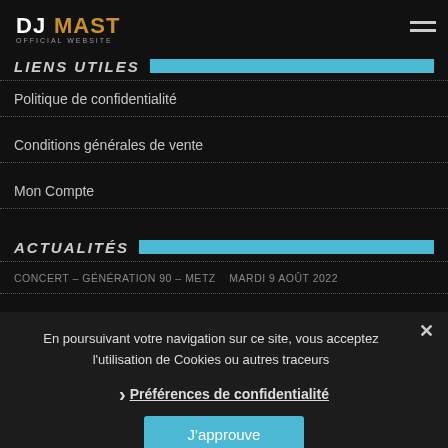DJ MAST OFFICIAL WEBSITE
LIENS UTILES
Politique de confidentialité
Conditions générales de vente
Mon Compte
ACTUALITÉS
CONCERT – GÉNÉRATION 90 – METZ   mardi 9 août 2022
En poursuivant votre navigation sur ce site, vous acceptez l'utilisation de Cookies ou autres traceurs
Préférences de confidentialité
J'approuve